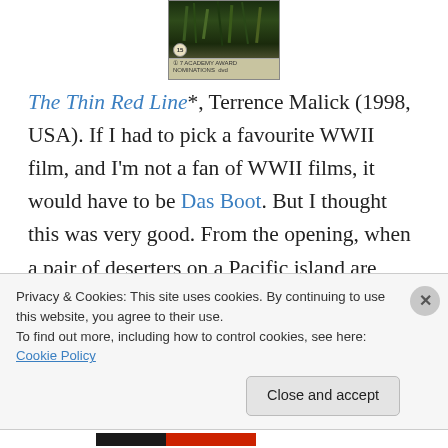[Figure (photo): DVD cover image of The Thin Red Line, partially visible at the top of the page, showing a dark green jungle/grass scene with a rating badge and DVD logo at the bottom.]
The Thin Red Line*, Terrence Malick (1998, USA). If I had to pick a favourite WWII film, and I'm not a fan of WWII films, it would have to be Das Boot. But I thought this was very good. From the opening, when a pair of deserters on a Pacific island are recaptured by their company to Nick Nolte's idiot colonel, determined to prove himself against younger men who have been promoted above him, not to mention the company commander who believes his
Privacy & Cookies: This site uses cookies. By continuing to use this website, you agree to their use.
To find out more, including how to control cookies, see here: Cookie Policy
Close and accept